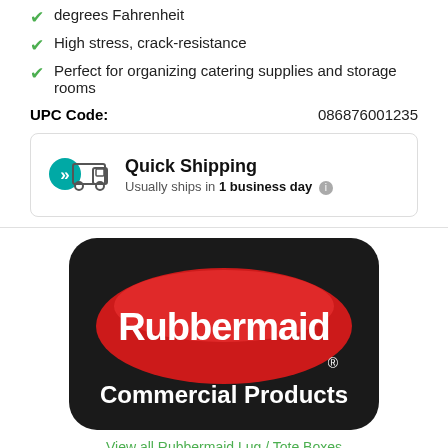degrees Fahrenheit
High stress, crack-resistance
Perfect for organizing catering supplies and storage rooms
UPC Code: 086876001235
[Figure (infographic): Quick Shipping box with truck icon. Text: Quick Shipping. Usually ships in 1 business day.]
[Figure (logo): Rubbermaid Commercial Products logo — red shield on black rounded rectangle background with white text.]
View all Rubbermaid Lug / Tote Boxes